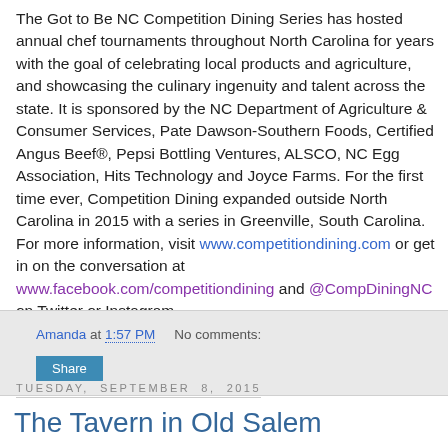The Got to Be NC Competition Dining Series has hosted annual chef tournaments throughout North Carolina for years with the goal of celebrating local products and agriculture, and showcasing the culinary ingenuity and talent across the state. It is sponsored by the NC Department of Agriculture & Consumer Services, Pate Dawson-Southern Foods, Certified Angus Beef®, Pepsi Bottling Ventures, ALSCO, NC Egg Association, Hits Technology and Joyce Farms. For the first time ever, Competition Dining expanded outside North Carolina in 2015 with a series in Greenville, South Carolina. For more information, visit www.competitiondining.com or get in on the conversation at www.facebook.com/competitiondining and @CompDiningNC on Twitter or Instagram.
Amanda at 1:57 PM    No comments:
Share
Tuesday, September 8, 2015
The Tavern in Old Salem